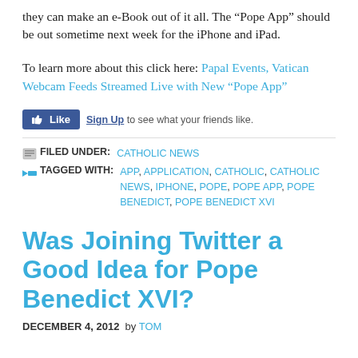they can make an e-Book out of it all. The “Pope App” should be out sometime next week for the iPhone and iPad.
To learn more about this click here: Papal Events, Vatican Webcam Feeds Streamed Live with New “Pope App”
[Figure (other): Facebook Like button with Sign Up text]
FILED UNDER: CATHOLIC NEWS
TAGGED WITH: APP, APPLICATION, CATHOLIC, CATHOLIC NEWS, IPHONE, POPE, POPE APP, POPE BENEDICT, POPE BENEDICT XVI
Was Joining Twitter a Good Idea for Pope Benedict XVI?
DECEMBER 4, 2012  by  TOM